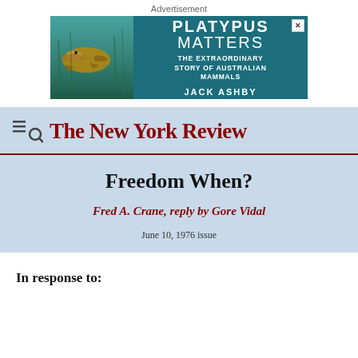Advertisement
[Figure (illustration): Advertisement banner for 'Platypus Matters: The Extraordinary Story of Australian Mammals' by Jack Ashby, with teal background and platypus image on left side.]
[Figure (logo): The New York Review logo with hamburger menu and search icon on left, red serif text reading 'The New York Review']
Freedom When?
Fred A. Crane, reply by Gore Vidal
June 10, 1976 issue
In response to: